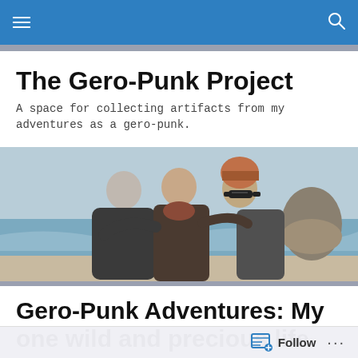Navigation bar with menu and search icons
The Gero-Punk Project
A space for collecting artifacts from my adventures as a gero-punk.
[Figure (photo): Three people posing together on a beach with ocean waves and a large rock formation in the background. The leftmost person has gray hair, the middle person wears a dark scarf, and the rightmost person wears a colorful knit hat and sunglasses.]
Gero-Punk Adventures: My one wild and precious life
Big things have been happening this summer in my neck
Follow